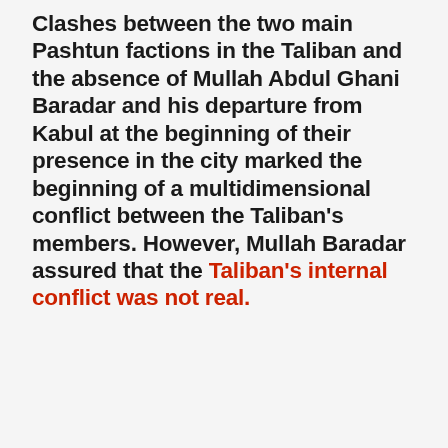Clashes between the two main Pashtun factions in the Taliban and the absence of Mullah Abdul Ghani Baradar and his departure from Kabul at the beginning of their presence in the city marked the beginning of a multidimensional conflict between the Taliban's members. However, Mullah Baradar assured that the Taliban's internal conflict was not real.
ADVERTISEMENT
[Figure (other): Advertisement placeholder box (gray rectangle)]